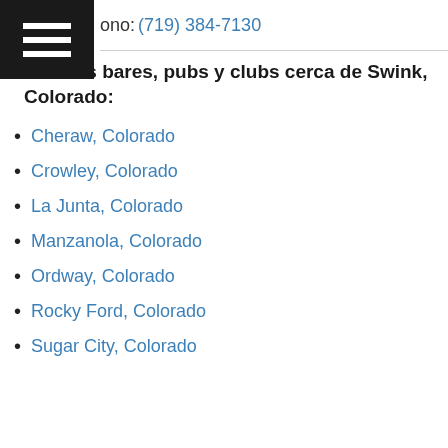ono: (719) 384-7130
Ver más bares, pubs y clubs cerca de Swink, Colorado:
Cheraw, Colorado
Crowley, Colorado
La Junta, Colorado
Manzanola, Colorado
Ordway, Colorado
Rocky Ford, Colorado
Sugar City, Colorado
Este sitio web utiliza cookies para garantizar la mejor experiencia a los usuarios. Más información
De acuerdo
Copyright. EsCiudad. Ciudades de Estados Unidos.